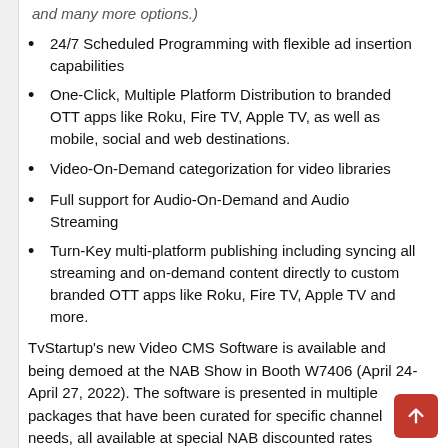and many more options.)
24/7 Scheduled Programming with flexible ad insertion capabilities
One-Click, Multiple Platform Distribution to branded OTT apps like Roku, Fire TV, Apple TV, as well as mobile, social and web destinations.
Video-On-Demand categorization for video libraries
Full support for Audio-On-Demand and Audio Streaming
Turn-Key multi-platform publishing including syncing all streaming and on-demand content directly to custom branded OTT apps like Roku, Fire TV, Apple TV and more.
TvStartup's new Video CMS Software is available and being demoed at the NAB Show in Booth W7406 (April 24-April 27, 2022). The software is presented in multiple packages that have been curated for specific channel needs, all available at special NAB discounted rates